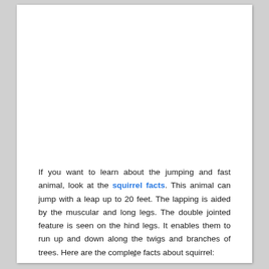If you want to learn about the jumping and fast animal, look at the squirrel facts. This animal can jump with a leap up to 20 feet. The lapping is aided by the muscular and long legs. The double jointed feature is seen on the hind legs. It enables them to run up and down along the twigs and branches of trees. Here are the complete facts about squirrel:
x